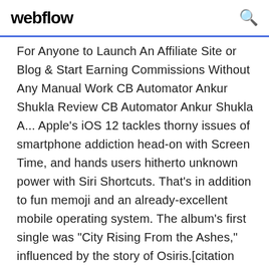webflow
For Anyone to Launch An Affiliate Site or Blog & Start Earning Commissions Without Any Manual Work CB Automator Ankur Shukla Review CB Automator Ankur Shukla A... Apple's iOS 12 tackles thorny issues of smartphone addiction head-on with Screen Time, and hands users hitherto unknown power with Siri Shortcuts. That's in addition to fun memoji and an already-excellent mobile operating system. The album's first single was "City Rising From the Ashes," influenced by the story of Osiris.[citation needed] In September 2019, he resigned as president of the FSF and left his "visiting scientist" role at MIT. Got a Girl is an